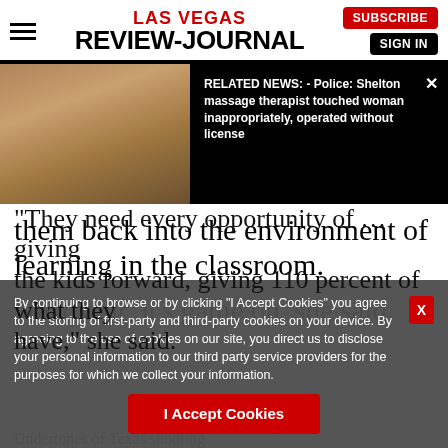LAS VEGAS REVIEW-JOURNAL
[Figure (screenshot): Related news overlay with photo of a woman and text: RELATED NEWS: - Police: Shelton massage therapist touched woman inappropriately, operated without license]
them back into the environment of learning in the classroom.
Next year, it's game on, she said.
"They need every opportunity of ... they need to..." kids forward, giving 110 percent of what they have," she said.
By continuing to browse or by clicking "I Accept Cookies" you agree to the storing of first-party and third-party cookies on your device. By agreeing to the use of cookies on our site, you direct us to disclose your personal information to our third party service providers for the purposes for which we collect your information.
I Accept Cookies
Undertones of Texas shooting